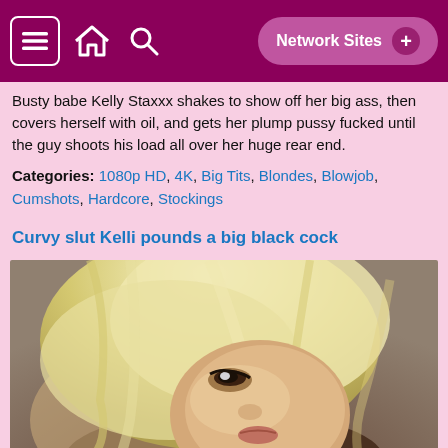Network Sites +
Busty babe Kelly Staxxx shakes to show off her big ass, then covers herself with oil, and gets her plump pussy fucked until the guy shoots his load all over her huge rear end.
Categories: 1080p HD, 4K, Big Tits, Blondes, Blowjob, Cumshots, Hardcore, Stockings
Curvy slut Kelli pounds a big black cock
[Figure (photo): Blonde woman photographed from above in an intimate scene]